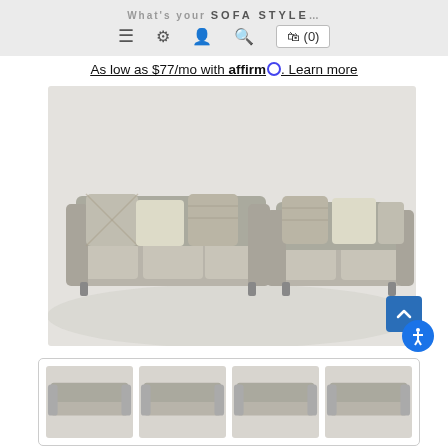What's your SOFA STYLE? [navigation icons: menu, settings, profile, search, cart (0)]
As low as $77/mo with affirm. Learn more
[Figure (photo): Product photo of a two-piece sofa and loveseat set in gray/beige fabric with decorative patterned throw pillows, shown on white background]
[Figure (photo): Thumbnail row showing four small images of the same sofa set from slightly different angles, displayed in a bordered row at bottom of page]